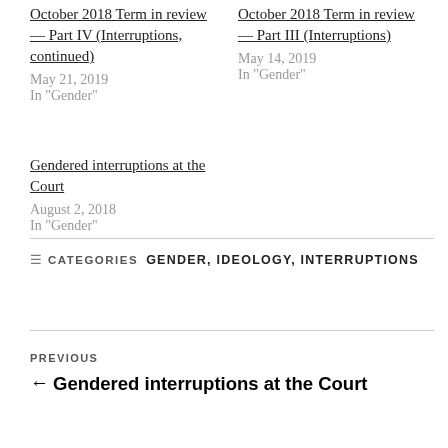October 2018 Term in review — Part IV (Interruptions, continued)
May 21, 2019
In "Gender"
October 2018 Term in review — Part III (Interruptions)
May 14, 2019
In "Gender"
Gendered interruptions at the Court
August 2, 2018
In "Gender"
GENDER, IDEOLOGY, INTERRUPTIONS
PREVIOUS
← Gendered interruptions at the Court